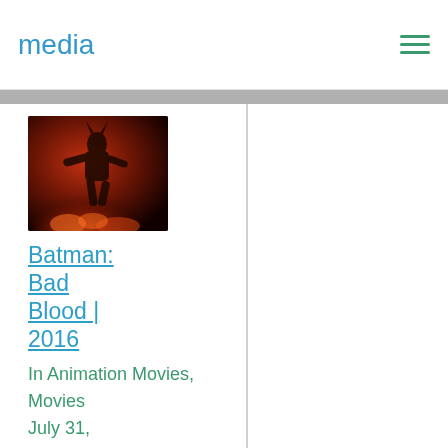media
[Figure (photo): Batman: Bad Blood movie thumbnail — dark action scene with a figure in red/dark tones]
Batman: Bad Blood | 2016
In Animation Movies, Movies
July 31, 2016
Ai??
Batman: Bad Blood (2016)